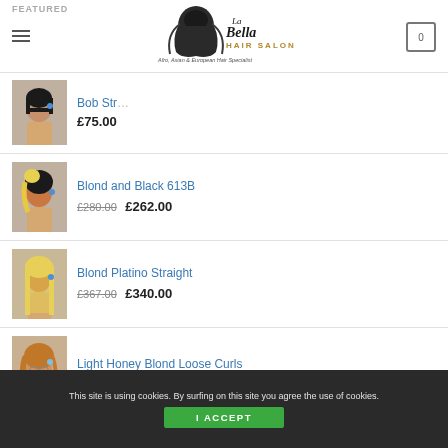La Bella Hair Salon – Afro, Asian & European Hair Specialist
FEATURED
[Figure (photo): Product photo of Bob Straight wig – model with short black bob haircut]
Bob Str… £75.00
[Figure (photo): Product photo of Blond and Black 613B wig – model with blond and black hair]
Blond and Black 613B
£280.00  £262.00
[Figure (photo): Product photo of Blond Platino Straight wig – model with long straight blond hair]
Blond Platino Straight
£367.00  £340.00
[Figure (photo): Product photo of Light Honey Blond Loose Curls wig – model with honey blond curly hair]
Light Honey Blond Loose Curls
£379.00 – £430.00
This site is using cookies. By surfing on this site you agree the use of cookies.
I ACCEPT